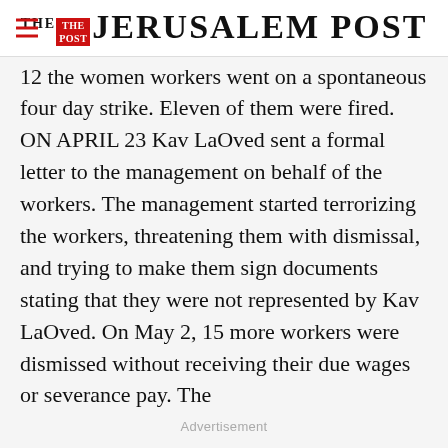THE JERUSALEM POST
12 the women workers went on a spontaneous four day strike. Eleven of them were fired. ON APRIL 23 Kav LaOved sent a formal letter to the management on behalf of the workers. The management started terrorizing the workers, threatening them with dismissal, and trying to make them sign documents stating that they were not represented by Kav LaOved. On May 2, 15 more workers were dismissed without receiving their due wages or severance pay. The
Advertisement